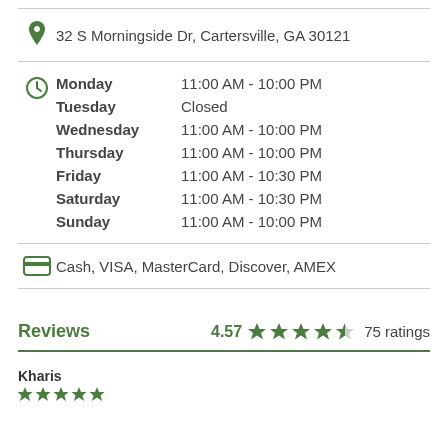32 S Morningside Dr, Cartersville, GA 30121
| Day | Hours |
| --- | --- |
| Monday | 11:00 AM - 10:00 PM |
| Tuesday | Closed |
| Wednesday | 11:00 AM - 10:00 PM |
| Thursday | 11:00 AM - 10:00 PM |
| Friday | 11:00 AM - 10:30 PM |
| Saturday | 11:00 AM - 10:30 PM |
| Sunday | 11:00 AM - 10:00 PM |
Cash, VISA, MasterCard, Discover, AMEX
Reviews
4.57  ★★★★½  75 ratings
Kharis